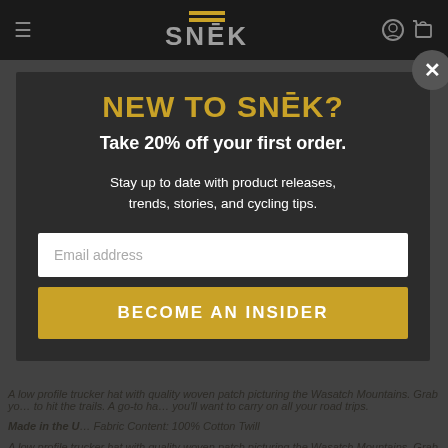SNĒK — navigation bar with hamburger menu, logo, search and cart icons
[Figure (screenshot): Website modal popup for SNĒK brand newsletter signup over a darkened product page background]
NEW TO SNĒK?
Take 20% off your first order.
Stay up to date with product releases, trends, stories, and cycling tips.
Email address (input field)
BECOME AN INSIDER (button)
A low profile trucker hat with quality woven patch picturing the Wasatch Mountains. Grab your … to hit the trails. A go-to hat you'll want to carry on all your road trips.
Made in the U… Fabric Content: 100% Cotton Twill